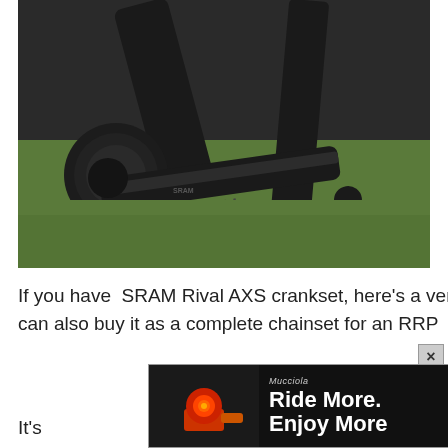[Figure (photo): Close-up photo of a SRAM Rival AXS crankset arm in black, mounted on a dark bicycle frame. The crank arm has 'RIVAL' branding. Green grass is visible in the background. A chain and brake rotor are partially visible.]
If you have SRAM Rival AXS crankset, here's a very reasonably priced way to upgrade it to a power meter. You can also buy it as a complete chainset for an RRP of just £322
[Figure (screenshot): Advertisement banner: black background with a red bicycle light on the left side and an orange item on the right. Text reads 'Ride More. Enjoy More' in bold white. Small italic logo text 'Mucciola' at top.]
It's a ... in